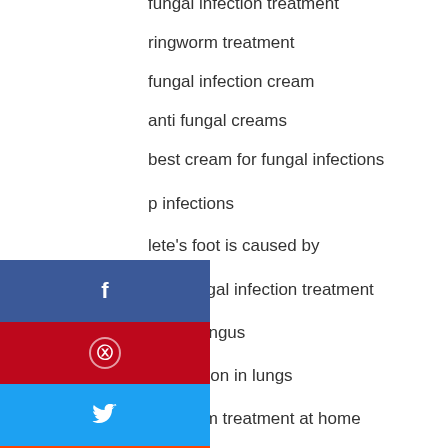fungal infection treatment
ringworm treatment
fungal infection cream
anti fungal creams
best cream for fungal infections
p infections
lete's foot is caused by
skin fungal infection treatment
worm fungus
al infection in lungs
ringworm treatment at home
fungal infection in vaginal area
brain fungus
anti fungal infection
skin fungus treatment
fungal eye infection
fungal infection groin
[Figure (infographic): Social media share buttons: Facebook (blue), Pinterest (red), Twitter (light blue), Reddit (orange)]